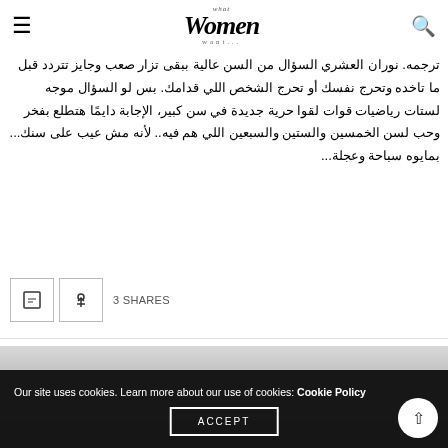what Women want
ترجمه. نوران العشري  السؤال من السن عالية ببقى تزار صعب وجايز تتردد قبل ما تاخده وتحرج نفسك أو تحرج الشخص اللي قدامك. بس لو السؤال موجه لستات رياضيات قوات  لقوا حرية جديدة في سن كبير، الإجابة دايمًا هتطلع بفخر وحب لسن الخمسين والستين والسبعين اللي هم فيه.. لأنه مش عيب على سنك... بمايوه سباحة وعجلة...
3 SHARES
[Figure (photo): Partial photo with grey gradient background visible at bottom of page]
Our site uses cookies. Learn more about our use of cookies: Cookie Policy
ACCEPT